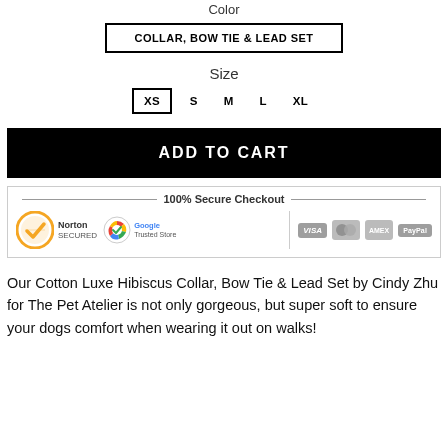Color
COLLAR, BOW TIE & LEAD SET
Size
XS  S  M  L  XL
ADD TO CART
[Figure (other): 100% Secure Checkout banner with Norton Secured, Google Trusted Store logos, and payment icons for VISA, Mastercard, American Express, and PayPal]
Our Cotton Luxe Hibiscus Collar, Bow Tie & Lead Set by Cindy Zhu for The Pet Atelier is not only gorgeous, but super soft to ensure your dogs comfort when wearing it out on walks!